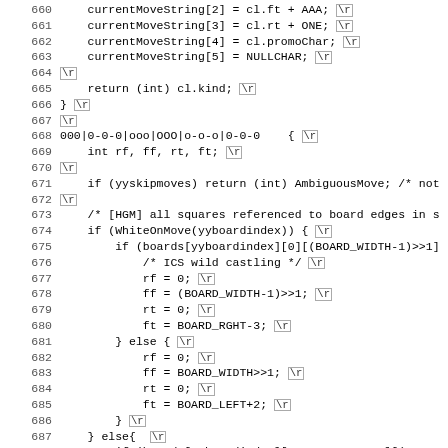[Figure (screenshot): Source code listing showing lines 660-691 of a chess engine C program with line numbers, code content, and carriage return markers (\r) shown as boxed annotations. The code handles move strings and castling logic.]